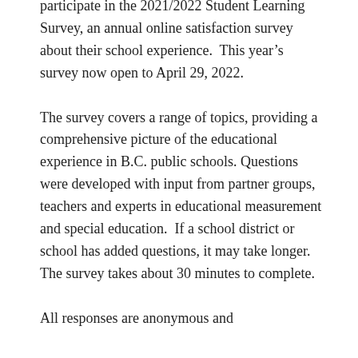participate in the 2021/2022 Student Learning Survey, an annual online satisfaction survey about their school experience.  This year's survey now open to April 29, 2022.
The survey covers a range of topics, providing a comprehensive picture of the educational experience in B.C. public schools. Questions were developed with input from partner groups, teachers and experts in educational measurement and special education.  If a school district or school has added questions, it may take longer.  The survey takes about 30 minutes to complete.
All responses are anonymous and